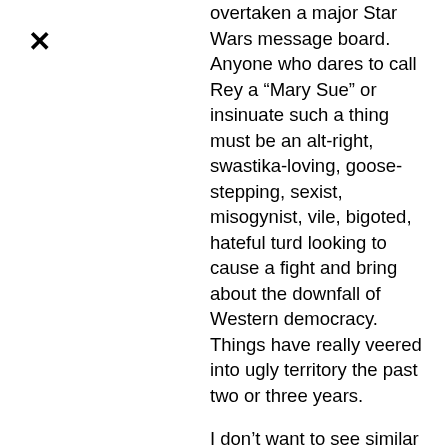×
overtaken a major Star Wars message board. Anyone who dares to call Rey a “Mary Sue” or insinuate such a thing must be an alt-right, swastika-loving, goose-stepping, sexist, misogynist, vile, bigoted, hateful turd looking to cause a fight and bring about the downfall of Western democracy. Things have really veered into ugly territory the past two or three years.

I don’t want to see similar nonsense here. Just let people comment as they choose. If you don’t like the atmosphere, why not simply refrain from